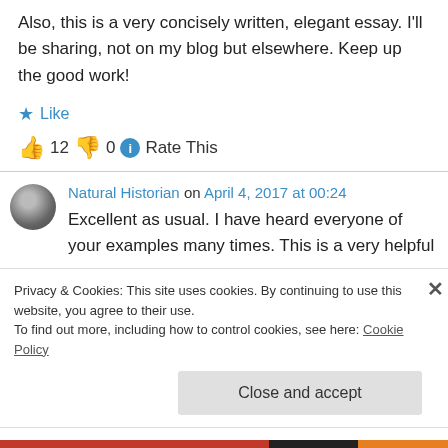Also, this is a very concisely written, elegant essay. I'll be sharing, not on my blog but elsewhere. Keep up the good work!
★ Like
👍 12 👎 0 ℹ Rate This
Natural Historian on April 4, 2017 at 00:24
Excellent as usual. I have heard everyone of your examples many times. This is a very helpful
Privacy & Cookies: This site uses cookies. By continuing to use this website, you agree to their use.
To find out more, including how to control cookies, see here: Cookie Policy
Close and accept